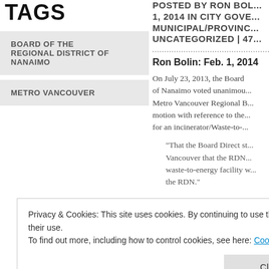TAGS
BOARD OF THE REGIONAL DISTRICT OF NANAIMO
METRO VANCOUVER
POSTED BY RON BOL... 1, 2014 IN CITY GOVE... MUNICIPAL/PROVINC... UNCATEGORIZED | 47...
Ron Bolin: Feb. 1, 2014
On July 23, 2013, the Board... of Nanaimo voted unanimou... Metro Vancouver Regional B... motion with reference to the... for an incinerator/Waste-to-...
“That the Board Direct st... Vancouver that the RDN... waste-to-energy facility w... the RDN.”
Privacy & Cookies: This site uses cookies. By continuing to use this website, you agree to their use. To find out more, including how to control cookies, see here: Cookie Policy
It will be noted that the form...